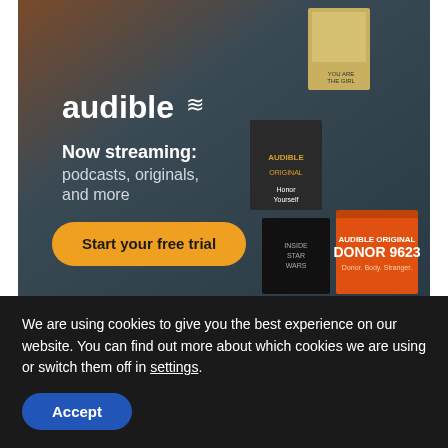[Figure (advertisement): Audible advertisement with dark teal/grey background. Shows 'audible' logo with wifi-like symbol. Text reads 'Now streaming: podcasts, originals, and more'. Yellow/orange rounded button says 'Start your free trial'. Right side shows book/audio covers including 'GURU', 'DONOR 9623', 'Honor Yourself', and others. Background has warm brown/orange gradient top-left.]
Popular	Comments	Tags
FDA warning: Ivermectin meant
We are using cookies to give you the best experience on our website. You can find out more about which cookies we are using or switch them off in settings.
Accept